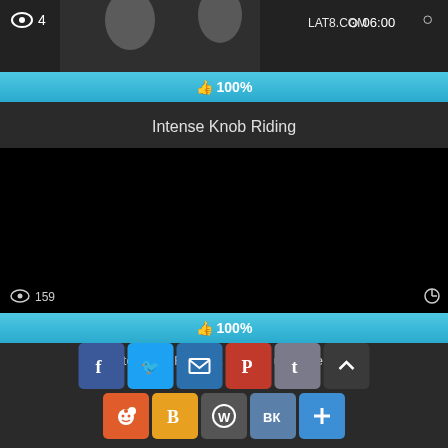[Figure (screenshot): Video thumbnail showing people, partially cropped at top. Overlay shows eye icon with view count '4' on left and 'LAT8.COM' watermark with clock icon and '06:00' duration on right.]
👍 100%
Intense Knob Riding
[Figure (screenshot): Black video player rectangle with view count '159' on bottom left and clock/timer icon on bottom right]
👍 100%
Step Fa... Fu... S... a... er... unishme...
[Figure (infographic): Social share buttons row 1: Facebook, Twitter, Email, Pinterest, Tumblr, scroll-up arrow button. Row 2: Reddit, Blogger, WordPress, VK, Plus/More button.]